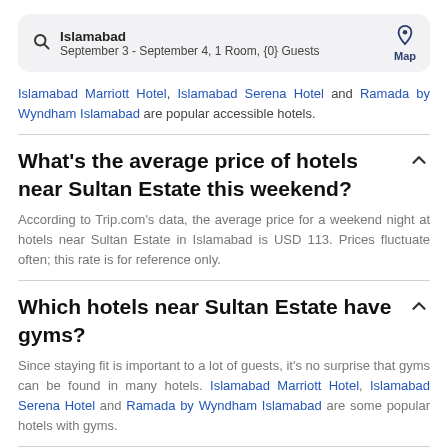[Figure (screenshot): Search bar showing 'Islamabad' with subtitle 'September 3 - September 4, 1 Room, {0} Guests' and a Map icon on the right]
Islamabad Marriott Hotel, Islamabad Serena Hotel and Ramada by Wyndham Islamabad are popular accessible hotels.
What's the average price of hotels near Sultan Estate this weekend?
According to Trip.com's data, the average price for a weekend night at hotels near Sultan Estate in Islamabad is USD 113. Prices fluctuate often; this rate is for reference only.
Which hotels near Sultan Estate have gyms?
Since staying fit is important to a lot of guests, it's no surprise that gyms can be found in many hotels. Islamabad Marriott Hotel, Islamabad Serena Hotel and Ramada by Wyndham Islamabad are some popular hotels with gyms.